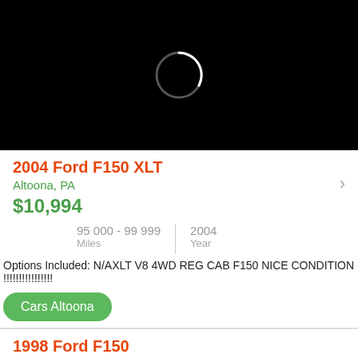[Figure (photo): Black background with a loading spinner circle (white/gray ring) in the upper center area]
2004 Ford F150 XLT
Altoona, PA
$10,994
95 000 - 99 999
Miles
2004
Year
Options Included: N/AXLT V8 4WD REG CAB F150 NICE CONDITION !!!!!!!!!!!!!!!
Cars Altoona
1998 Ford F150
Altoona, PA